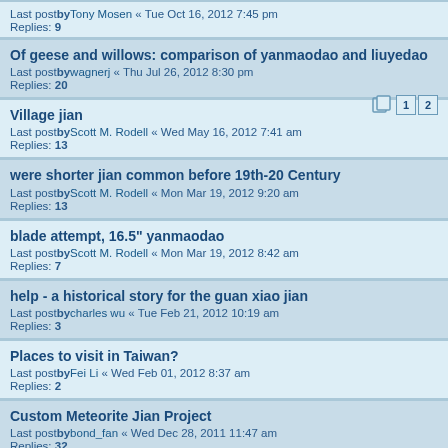Last postby Tony Mosen « Tue Oct 16, 2012 7:45 pm
Replies: 9
Of geese and willows: comparison of yanmaodao and liuyedao
Last postby wagnerj « Thu Jul 26, 2012 8:30 pm
Replies: 20
Village jian
Last postby Scott M. Rodell « Wed May 16, 2012 7:41 am
Replies: 13
were shorter jian common before 19th-20 Century
Last postby Scott M. Rodell « Mon Mar 19, 2012 9:20 am
Replies: 13
blade attempt, 16.5" yanmaodao
Last postby Scott M. Rodell « Mon Mar 19, 2012 8:42 am
Replies: 7
help - a historical story for the guan xiao jian
Last postby charles wu « Tue Feb 21, 2012 10:19 am
Replies: 3
Places to visit in Taiwan?
Last postby Fei Li « Wed Feb 01, 2012 8:37 am
Replies: 2
Custom Meteorite Jian Project
Last postby bond_fan « Wed Dec 28, 2011 11:47 am
Replies: 32
Design Help Need in Modern Vs. Antique Wing Chun Swords
Last postby bond_fan « Fri Oct 28, 2011 9:28 pm
Butterfly swords/knives